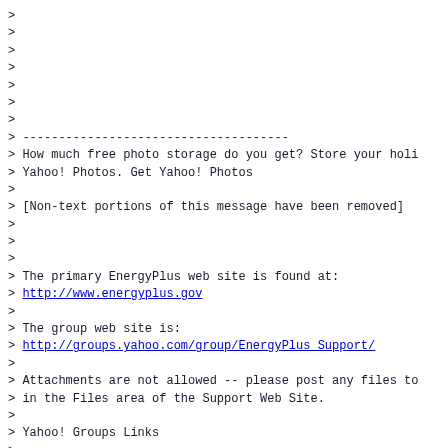>
>
>
>
>
>
>
> -------------------------------------
> How much free photo storage do you get? Store your holi
> Yahoo! Photos. Get Yahoo! Photos
>
> [Non-text portions of this message have been removed]
>
>
>
> The primary EnergyPlus web site is found at:
> http://www.energyplus.gov
>
> The group web site is:
> http://groups.yahoo.com/group/EnergyPlus_Support/
>
> Attachments are not allowed -- please post any files to
> in the Files area of the Support Web Site.
>
> Yahoo! Groups Links
>
>
>
>
>
>
>
>